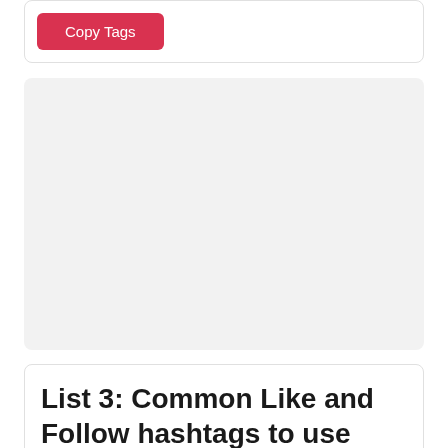[Figure (screenshot): Red 'Copy Tags' button inside a card with rounded corners and light border]
[Figure (screenshot): Large gray empty area with light gray background and rounded corners]
List 3: Common Like and Follow hashtags to use with any post
[Figure (screenshot): Two outline buttons at the bottom of a card — one blue outline and one dark outline]